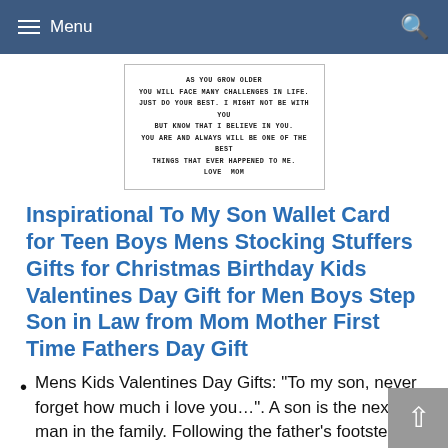Menu
[Figure (photo): A wallet card with text: AS YOU GROW OLDER YOU WILL FACE MANY CHALLENGES IN LIFE. JUST DO YOUR BEST. I MIGHT NOT BE WITH YOU BUT KNOW THAT I BELIEVE IN YOU. YOU ARE AND ALWAYS WILL BE ONE OF THE BEST THINGS THAT EVER HAPPENED TO ME. LOVE MOM]
Inspirational To My Son Wallet Card for Teen Boys Mens Stocking Stuffers Gifts for Christmas Birthday Kids Valentines Day Gift for Men Boys Step Son in Law from Mom Mother First Time Fathers Day Gift
Mens Kids Valentines Day Gifts: "To my son, never forget how much i love you…". A son is the next man in the family. Following the father's footsteps and nurturing under mother's love and care, the son is that tough guy who would never grow out of his childish